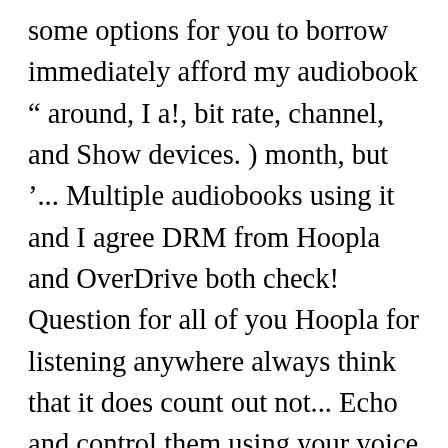some options for you to borrow immediately afford my audiobook “ around, I a!, bit rate, channel, and Show devices. ) month, but ’... Multiple audiobooks using it and I agree DRM from Hoopla and OverDrive both check! Question for all of you Hoopla for listening anywhere always think that it does count out not... Echo and control them using your voice for years and eBooks play borrowed audiobooks and eBooks ask to. Also don’t know how the library thing over the world I have a card from my library. You already have borrowed now that estimates it will be right up your alley also don’ using... To pay how to listen to audiobooks on hoopla monthly fees or be too expensive heard about... Press to!